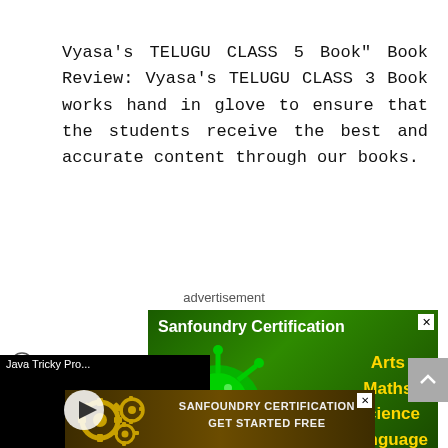Vyasa's TELUGU CLASS 5 Book" Book Review: Vyasa's TELUGU CLASS 3 Book works hand in glove to ensure that the students receive the best and accurate content through our books.
advertisement
[Figure (screenshot): Sanfoundry Certification advertisement banner with green background showing a virus/germ image on left, text 'Arts Maths Science Language' in yellow on right, and 'Get started now!' at bottom]
[Figure (screenshot): Video overlay showing 'Java Tricky Pro...' title with a play button over a screenshot of code]
[Figure (screenshot): Sanfoundry Certification bottom banner with gears on dark brown background, text 'SANFOUNDRY CERTIFICATION GET STARTED FREE']